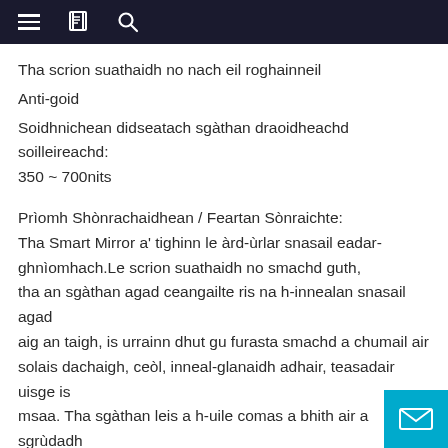≡  📋  🔍
Tha scrion suathaidh no nach eil roghainneil
Anti-goid
Soidhnichean didseatach sgàthan draoidheachd soilleireachd: 350 ~ 700nits
Prìomh Shònrachaidhean / Feartan Sònraichte:
Tha Smart Mirror a' tighinn le àrd-ùrlar snasail eadar-ghnìomhach.Le scrion suathaidh no smachd guth, tha an sgàthan agad ceangailte ris na h-innealan snasail agad aig an taigh, is urrainn dhut gu furasta smachd a chumail air solais dachaigh, ceòl, inneal-glanaidh adhair, teasadair uisge is msaa. Tha sgàthan leis a h-uile comas a bhith air a sgrùdadh aig do àithne.
Nuair a bhios Smart Mirror dheth, Chan eil ann ach sgàtha cunbhalach anns an t-seòmar-ionnlaid agad, thoir sùil air d